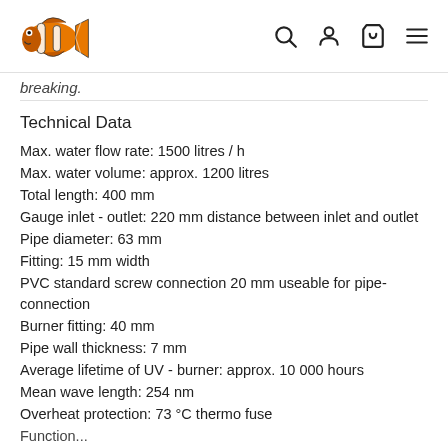[Clownfish logo] [Search icon] [Account icon] [Cart icon] [Menu icon]
breaking.
Technical Data
Max. water flow rate: 1500 litres / h
Max. water volume: approx. 1200 litres
Total length: 400 mm
Gauge inlet - outlet: 220 mm distance between inlet and outlet
Pipe diameter: 63 mm
Fitting: 15 mm width
PVC standard screw connection 20 mm useable for pipe-connection
Burner fitting: 40 mm
Pipe wall thickness: 7 mm
Average lifetime of UV - burner: approx. 10 000 hours
Mean wave length: 254 nm
Overheat protection: 73 °C thermo fuse
Function...